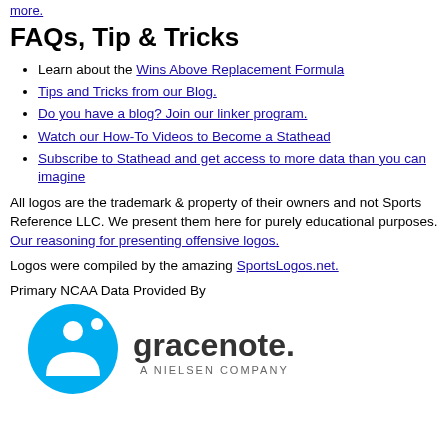more.
FAQs, Tip & Tricks
Learn about the Wins Above Replacement Formula
Tips and Tricks from our Blog.
Do you have a blog? Join our linker program.
Watch our How-To Videos to Become a Stathead
Subscribe to Stathead and get access to more data than you can imagine
All logos are the trademark & property of their owners and not Sports Reference LLC. We present them here for purely educational purposes. Our reasoning for presenting offensive logos.
Logos were compiled by the amazing SportsLogos.net.
Primary NCAA Data Provided By
[Figure (logo): Gracenote - A Nielsen Company logo]